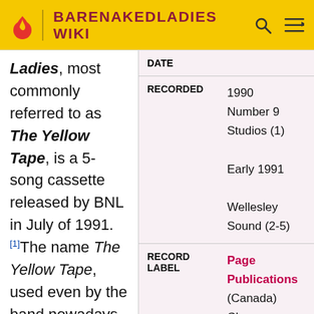BARENAKEDLADIES WIKI
Ladies, most commonly referred to as The Yellow Tape, is a 5-song cassette released by BNL in July of 1991.[1]The name The Yellow Tape, used even by the band nowadays, comes from the fact that the cassette had a pale yellow cover
| DATE |  |
| --- | --- |
| RECORDED | 1990
Number 9 Studios (1)

Early 1991

Wellesley Sound (2-5) |
| RECORD LABEL | Page Publications (Canada)
Cheree Records (UK) |
| RUNNING TIME | 16:59 (Canada) |